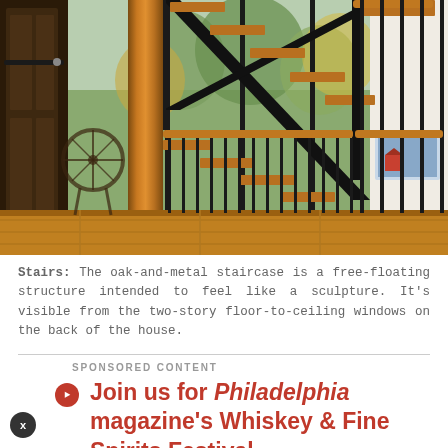[Figure (photo): Interior photograph of an oak-and-metal free-floating staircase structure with wooden treads, dark metal stringers and balusters, large floor-to-ceiling windows showing autumn trees in background, wooden post and barn door on left, hardwood floors.]
Stairs: The oak-and-metal staircase is a free-floating structure intended to feel like a sculpture. It's visible from the two-story floor-to-ceiling windows on the back of the house.
SPONSORED CONTENT
Join us for Philadelphia magazine's Whiskey & Fine Spirits Festival